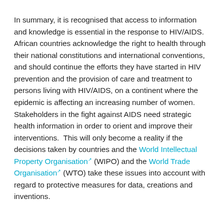In summary, it is recognised that access to information and knowledge is essential in the response to HIV/AIDS. African countries acknowledge the right to health through their national constitutions and international conventions, and should continue the efforts they have started in HIV prevention and the provision of care and treatment to persons living with HIV/AIDS, on a continent where the epidemic is affecting an increasing number of women. Stakeholders in the fight against AIDS need strategic health information in order to orient and improve their interventions. This will only become a reality if the decisions taken by countries and the World Intellectual Property Organisation (WIPO) and the World Trade Organisation (WTO) take these issues into account with regard to protective measures for data, creations and inventions.